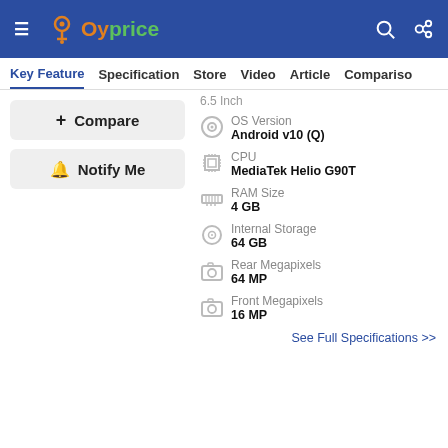Oyprice
Key Feature  Specification  Store  Video  Article  Comparison
+ Compare
🔔 Notify Me
6.5 Inch
OS Version
Android v10 (Q)
CPU
MediaTek Helio G90T
RAM Size
4 GB
Internal Storage
64 GB
Rear Megapixels
64 MP
Front Megapixels
16 MP
See Full Specifications >>